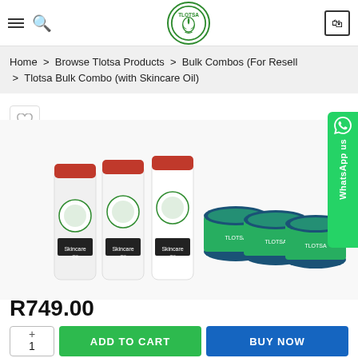Tlotsa — navigation header with hamburger menu, search, logo, and cart
Home > Browse Tlotsa Products > Bulk Combos (For Resell > Tlotsa Bulk Combo (with Skincare Oil)
[Figure (photo): Product photo showing multiple bottles of Tlotsa Skincare Oil with red caps and green label jars]
R749.00
1  ADD TO CART  BUY NOW